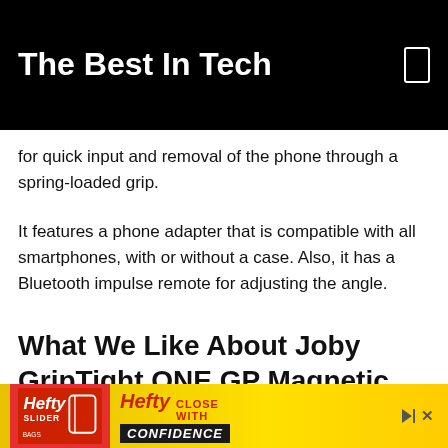The Best In Tech
for quick input and removal of the phone through a spring-loaded grip.
It features a phone adapter that is compatible with all smartphones, with or without a case. Also, it has a Bluetooth impulse remote for adjusting the angle.
What We Like About Joby GripTight ONE GP Magnetic Impulse
The material utilized is sturdy, a very robust metal. The
[Figure (other): Hefty Slider advertisement banner with Hefty logo, red background on left, yellow gradient background, text reading CLOSE WITH CONFIDENCE]